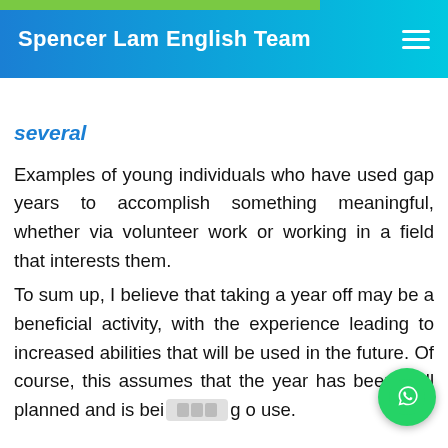Spencer Lam English Team
several
Examples of young individuals who have used gap years to accomplish something meaningful, whether via volunteer work or working in a field that interests them.
To sum up, I believe that taking a year off may be a beneficial activity, with the experience leading to increased abilities that will be used in the future. Of course, this assumes that the year has been well planned and is being put to good use.